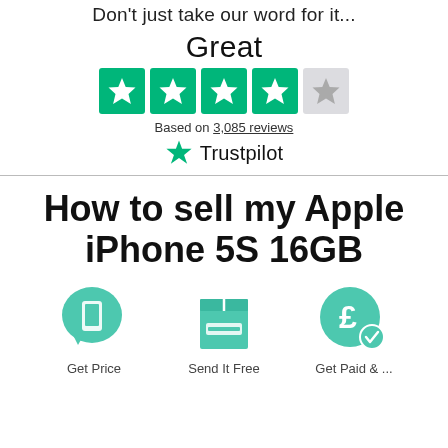Don't just take our word for it...
Great
[Figure (infographic): Trustpilot star rating: 4.5 out of 5 stars, 4 green filled stars and 1 grey partially filled star]
Based on 3,085 reviews
[Figure (logo): Trustpilot logo with green star icon and 'Trustpilot' text]
How to sell my Apple iPhone 5S 16GB
[Figure (infographic): Three step icons: phone/get price icon, send/box icon, get paid/pound coin icon, with labels 'Get Price', 'Send It Free', 'Get Paid & ...']